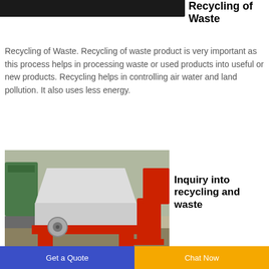[Figure (photo): Dark industrial equipment image cropped at top]
Recycling of Waste
Recycling of Waste. Recycling of waste product is very important as this process helps in processing waste or used products into useful or new products. Recycling helps in controlling air water and land pollution. It also uses less energy.
[Figure (photo): Red industrial shredder/recycling machine on a concrete floor in a factory setting]
Inquiry into recycling and waste
Get a Quote | Chat Now